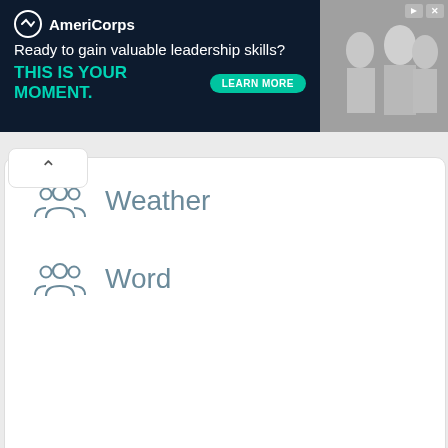[Figure (screenshot): AmeriCorps advertisement banner with dark navy background. Logo with circle icon and 'AmeriCorps' text. Tagline: 'Ready to gain valuable leadership skills?' and 'THIS IS YOUR MOMENT.' in teal. 'LEARN MORE' button. Photo of people on right side.]
Weather
Word
Most Viewed Games
Save The Dog – Dog Escape
Casual